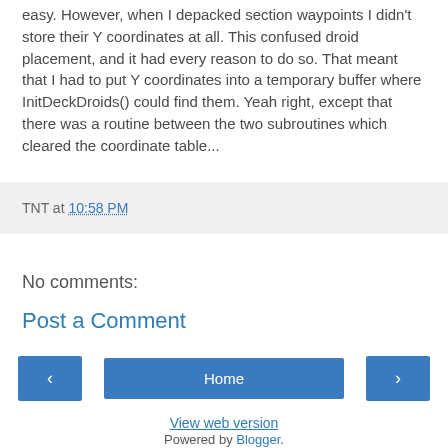easy. However, when I depacked section waypoints I didn't store their Y coordinates at all. This confused droid placement, and it had every reason to do so. That meant that I had to put Y coordinates into a temporary buffer where InitDeckDroids() could find them. Yeah right, except that there was a routine between the two subroutines which cleared the coordinate table...
TNT at 10:58 PM
No comments:
Post a Comment
‹
Home
›
View web version
Powered by Blogger.